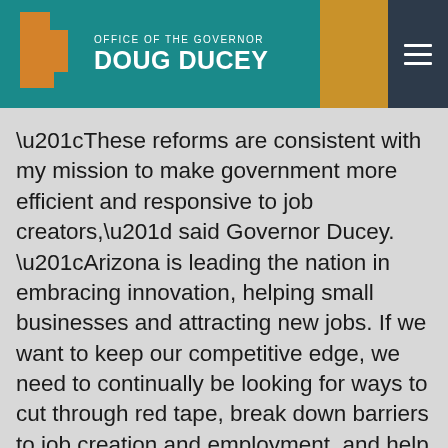OFFICE OF THE GOVERNOR DOUG DUCEY
“These reforms are consistent with my mission to make government more efficient and responsive to job creators,” said Governor Ducey. “Arizona is leading the nation in embracing innovation, helping small businesses and attracting new jobs. If we want to keep our competitive edge, we need to continually be looking for ways to cut through red tape, break down barriers to job creation and employment, and help Arizonans get to work easier and faster. That will continue to be our goal as we roll out the welcome mat for businesses big and small.”